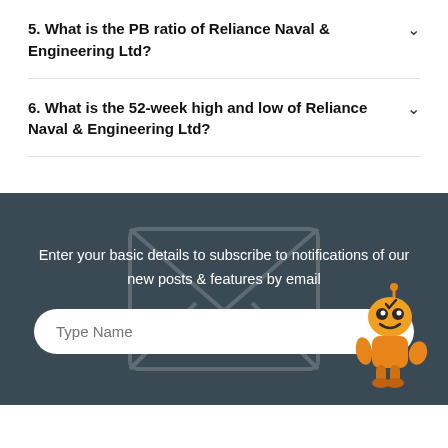5. What is the PB ratio of Reliance Naval & Engineering Ltd?
6. What is the 52-week high and low of Reliance Naval & Engineering Ltd?
Enter your basic details to subscribe to notifications of our new posts & features by email
Type Name